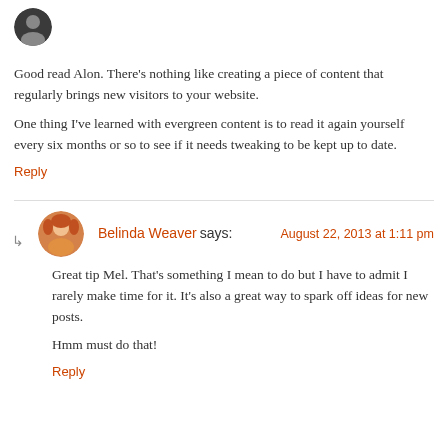[Figure (photo): Small circular avatar of a person with dark hair, top of page]
Good read Alon. There's nothing like creating a piece of content that regularly brings new visitors to your website.
One thing I've learned with evergreen content is to read it again yourself every six months or so to see if it needs tweaking to be kept up to date.
Reply
Belinda Weaver says:
August 22, 2013 at 1:11 pm
[Figure (photo): Circular avatar of Belinda Weaver, a woman with reddish hair and yellow/orange clothing]
Great tip Mel. That's something I mean to do but I have to admit I rarely make time for it. It's also a great way to spark off ideas for new posts.
Hmm must do that!
Reply